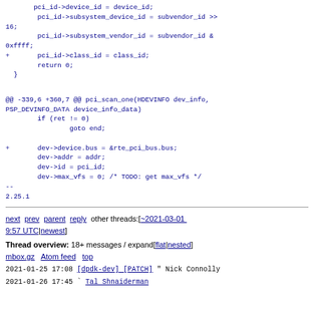pci_id->device_id = device_id;
pci_id->subsystem_device_id = subvendor_id >> 16;
pci_id->subsystem_vendor_id = subvendor_id & 0xffff;
+ pci_id->class_id = class_id;
 return 0;
 }
@@ -339,6 +360,7 @@ pci_scan_one(HDEVINFO dev_info, PSP_DEVINFO_DATA device_info_data)
 if (ret != 0)
 goto end;

+ dev->device.bus = &rte_pci_bus.bus;
 dev->addr = addr;
 dev->id = pci_id;
 dev->max_vfs = 0; /* TODO: get max_vfs */
--
2.25.1
next prev parent reply other threads:[~2021-03-01 9:57 UTC|newest]
Thread overview: 18+ messages / expand[flat|nested]
mbox.gz  Atom feed  top
2021-01-25 17:08 [dpdk-dev] [PATCH] " Nick Connolly
2021-01-26 17:45 ` Tal Shnaiderman